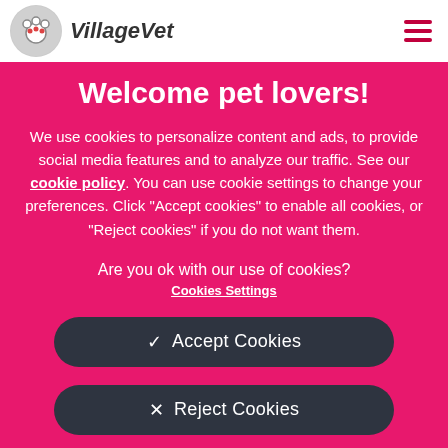VillageVet
Welcome pet lovers!
We use cookies to personalize content and ads, to provide social media features and to analyze our traffic. See our cookie policy. You can use cookie settings to change your preferences. Click "Accept cookies" to enable all cookies, or "Reject cookies" if you do not want them.
Are you ok with our use of cookies?
Cookies Settings
✓  Accept Cookies
✕  Reject Cookies